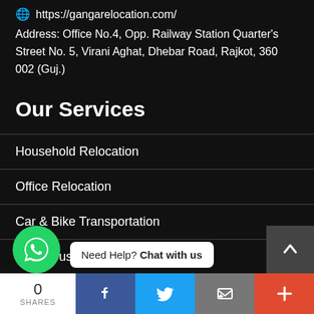🌐 https://gangarelocation.com/
Address: Office No.4, Opp. Railway Station Quarter's Street No. 5, Virani Aghat, Dhebar Road, Rajkot, 360 002 (Guj.)
Our Services
Household Relocation
Office Relocation
Car & Bike Transportation
Warehouse & Storage
Need Help? Chat with us
0 SHARES